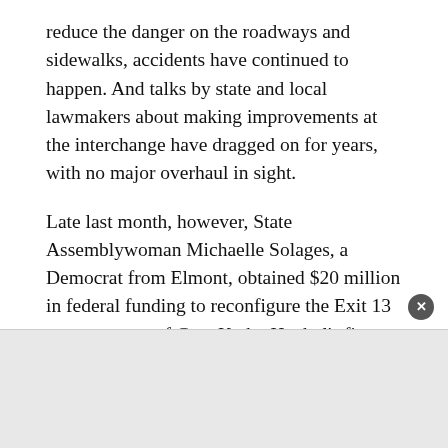reduce the danger on the roadways and sidewalks, accidents have continued to happen. And talks by state and local lawmakers about making improvements at the interchange have dragged on for years, with no major overhaul in sight.
Late last month, however, State Assemblywoman Michaelle Solages, a Democrat from Elmont, obtained $20 million in federal funding to reconfigure the Exit 13 ramps as part of Gov. Kathy Hochul's five-year, $32.8 billion State Department of Transportation capital plan. The plan to redesign the parkway's ramps is a major step forward for residents in what has proven to be a